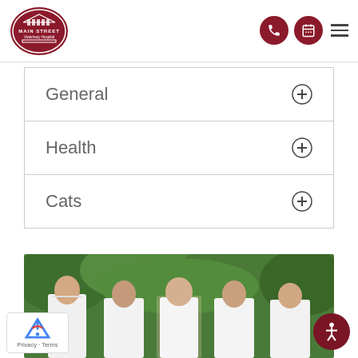[Figure (logo): Main Street Veterinary Hospital logo — dark red oval with building illustration and text]
General
Health
Cats
[Figure (photo): Group photo of five veterinary staff members in white lab coats standing outdoors in front of green foliage]